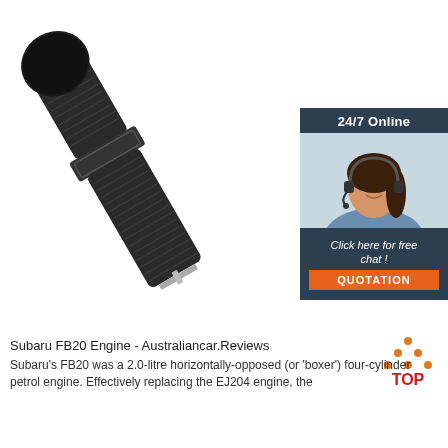[Figure (photo): Black wristband/watch strap with round black disc and metal buckle, photographed on white background]
[Figure (infographic): Dark blue advertisement box showing '24/7 Online' text, a woman with headset smiling, italic text 'Click here for free chat!' and an orange button labeled 'QUOTATION']
[Figure (logo): TOP icon with orange dots arranged in triangle and red TOP text]
Subaru FB20 Engine - Australiancar.Reviews
Subaru's FB20 was a 2.0-litre horizontally-opposed (or 'boxer') four-cylinder petrol engine. Effectively replacing the EJ204 engine, the